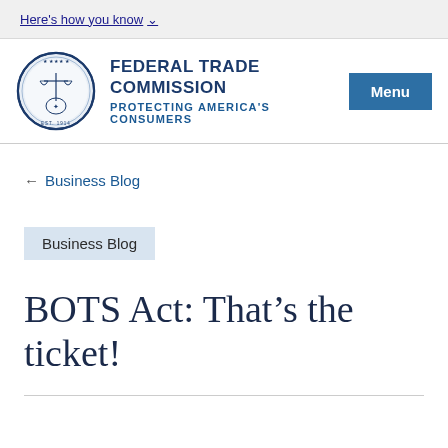Here's how you know
[Figure (logo): Federal Trade Commission seal — circular blue emblem with scales of justice]
FEDERAL TRADE COMMISSION
PROTECTING AMERICA'S CONSUMERS
Menu
← Business Blog
Business Blog
BOTS Act: That's the ticket!